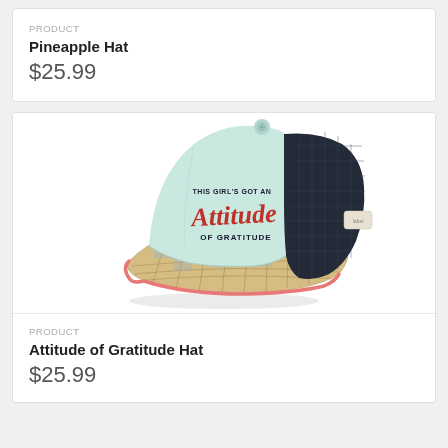PRODUCT
Pineapple Hat
$25.99
[Figure (photo): A baseball cap with light blue/mint front panel, dark navy mesh back, plaid brim with pink trim, and embroidered text reading 'THIS GIRL'S GOT AN Attitude OF GRATITUDE']
PRODUCT
Attitude of Gratitude Hat
$25.99